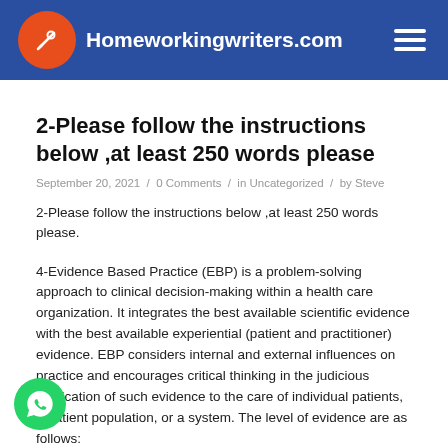Homeworkingwriters.com
2-Please follow the instructions below ,at least 250 words please
September 20, 2021 / 0 Comments / in Uncategorized / by Steve
2-Please follow the instructions below ,at least 250 words please.
4-Evidence Based Practice (EBP) is a problem-solving approach to clinical decision-making within a health care organization. It integrates the best available scientific evidence with the best available experiential (patient and practitioner) evidence. EBP considers internal and external influences on practice and encourages critical thinking in the judicious application of such evidence to the care of individual patients, a patient population, or a system. The level of evidence are as follows: